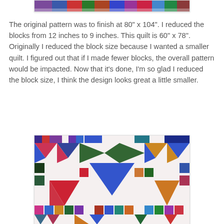[Figure (photo): Top portion of a colorful patchwork quilt with geometric triangle and square patterns in multiple colors including purple, blue, red, green, and orange on white background.]
The original pattern was to finish at 80" x 104". I reduced the blocks from 12 inches to 9 inches. This quilt is 60" x 78". Originally I reduced the block size because I wanted a smaller quilt. I figured out that if I made fewer blocks, the overall pattern would be impacted. Now that it's done, I'm so glad I reduced the block size, I think the design looks great a little smaller.
[Figure (photo): Close-up of a colorful patchwork quilt featuring geometric patterns with triangles and squares in vibrant colors including blue, red, green, orange, purple, and teal on a white background. The design includes pinwheel and star-like block arrangements.]